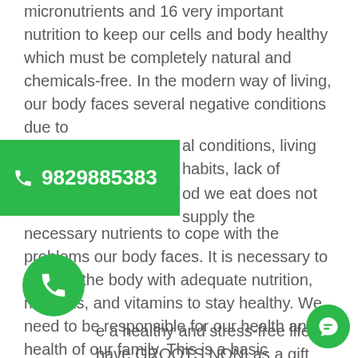micronutrients and 16 very important nutrition to keep our cells and body healthy which must be completely natural and chemicals-free. In the modern way of living, our body faces several negative conditions due to
pollution, food habits, pesticides, stress due to work, [environmental] conditions, living habits, lack of [sleep. The fo]od we eat does not supply the necessary nutrients to cope with the problems our body faces. It is necessary to support the body with adequate nutrition, minerals, and vitamins to stay healthy. We need to be responsible for our health and the health of our family. This is a basic responsibility of a human being
[To liv]e a healthy and stress-free life we have GROOTS NONI as a gift from nature. It is prepared from